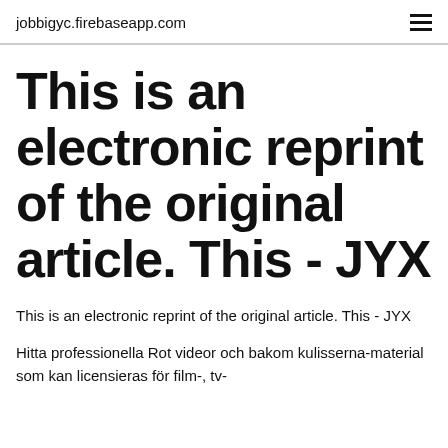jobbigyc.firebaseapp.com
This is an electronic reprint of the original article. This - JYX
This is an electronic reprint of the original article. This - JYX
Hitta professionella Rot videor och bakom kulisserna-material som kan licensieras för film-, tv-